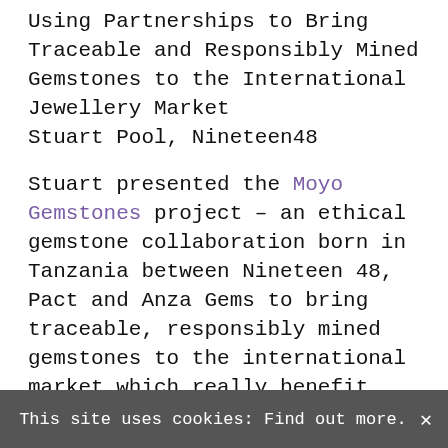Using Partnerships to Bring Traceable and Responsibly Mined Gemstones to the International Jewellery Market
Stuart Pool, Nineteen48
Stuart presented the Moyo Gemstones project – an ethical gemstone collaboration born in Tanzania between Nineteen 48, Pact and Anza Gems to bring traceable, responsibly mined gemstones to the international market which really benefit artisanal mining communities. They are developing relationships and processes with the female artisanal gem
This site uses cookies: Find out more. ×